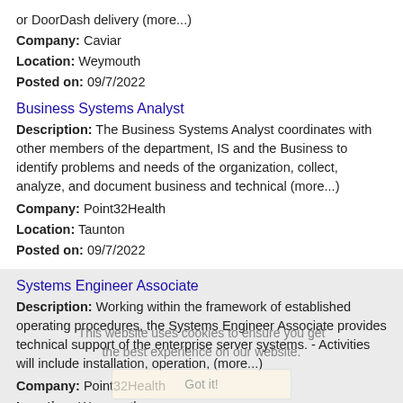or DoorDash delivery (more...)
Company: Caviar
Location: Weymouth
Posted on: 09/7/2022
Business Systems Analyst
Description: The Business Systems Analyst coordinates with other members of the department, IS and the Business to identify problems and needs of the organization, collect, analyze, and document business and technical (more...)
Company: Point32Health
Location: Taunton
Posted on: 09/7/2022
Systems Engineer Associate
Description: Working within the framework of established operating procedures, the Systems Engineer Associate provides technical support of the enterprise server systems. - Activities will include installation, operation, (more...)
Company: Point32Health
Location: Weymouth
Posted on: 09/7/2022
Entry Level Assemblers - New Starting Wage!